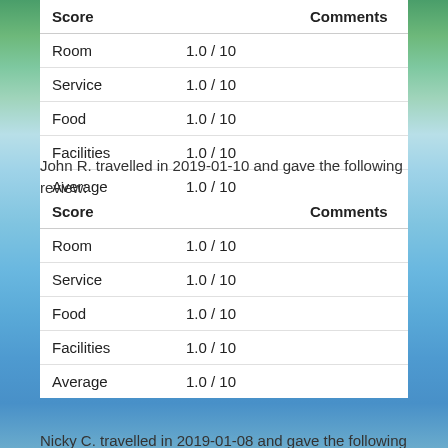| Score |  | Comments |
| --- | --- | --- |
| Room | 1.0 / 10 |  |
| Service | 1.0 / 10 |  |
| Food | 1.0 / 10 |  |
| Facilities | 1.0 / 10 |  |
| Average | 1.0 / 10 |  |
John R. travelled in 2019-01-10 and gave the following review:
| Score |  | Comments |
| --- | --- | --- |
| Room | 1.0 / 10 |  |
| Service | 1.0 / 10 |  |
| Food | 1.0 / 10 |  |
| Facilities | 1.0 / 10 |  |
| Average | 1.0 / 10 |  |
Nicky C. travelled in 2019-01-08 and gave the following